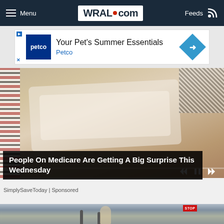Menu | WRAL.com | Feeds
[Figure (photo): Petco advertisement banner: Your Pet's Summer Essentials - Petco]
[Figure (photo): Video thumbnail showing a hand holding paper/receipt with video playback controls visible]
People On Medicare Are Getting A Big Surprise This Wednesday
SimplySaveToday | Sponsored
[Figure (photo): Street scene showing a woman with blonde hair and a backpack walking, a stop sign visible in the background, urban setting with trucks and buildings]